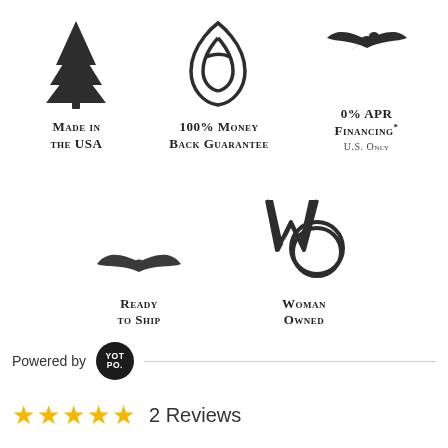[Figure (logo): Made in the USA badge with pine tree icon]
[Figure (logo): 100% Money Back Guarantee badge with leaf/hand icon]
[Figure (logo): 0% APR Financing US Only badge with bird icon]
[Figure (logo): Ready to Ship badge with seagull icon]
[Figure (logo): Woman Owned badge with WO monogram]
Powered by YOTPO
★★★★★ 2 Reviews